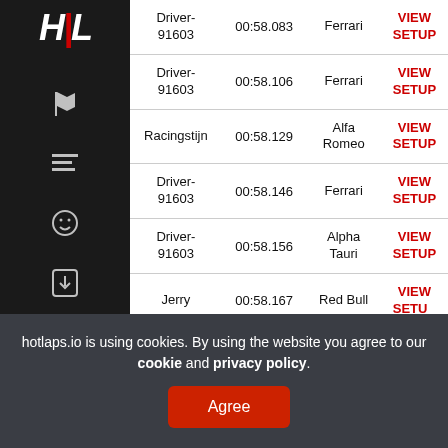[Figure (logo): HL logo in white italic bold text on dark sidebar]
| Driver | Time | Car | Action |
| --- | --- | --- | --- |
| Driver-91603 | 00:58.083 | Ferrari | VIEW SETUP |
| Driver-91603 | 00:58.106 | Ferrari | VIEW SETUP |
| Racingstijn | 00:58.129 | Alfa Romeo | VIEW SETUP |
| Driver-91603 | 00:58.146 | Ferrari | VIEW SETUP |
| Driver-91603 | 00:58.156 | Alpha Tauri | VIEW SETUP |
| Jerry | 00:58.167 | Red Bull | VIEW SETUP |
hotlaps.io is using cookies. By using the website you agree to our cookie and privacy policy.